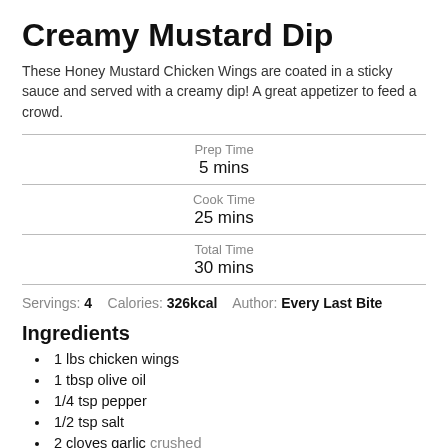Creamy Mustard Dip
These Honey Mustard Chicken Wings are coated in a sticky sauce and served with a creamy dip! A great appetizer to feed a crowd.
Prep Time: 5 mins
Cook Time: 25 mins
Total Time: 30 mins
Servings: 4   Calories: 326kcal   Author: Every Last Bite
Ingredients
1 lbs chicken wings
1 tbsp olive oil
1/4 tsp pepper
1/2 tsp salt
2 cloves garlic crushed
2 tbsp ghee